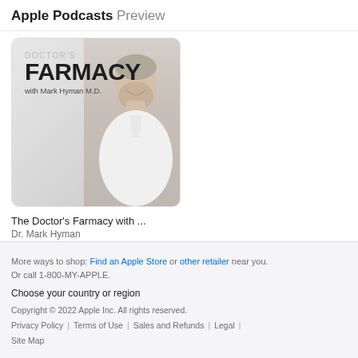Apple Podcasts Preview
[Figure (photo): Podcast cover art for The Doctor's Farmacy with Mark Hyman M.D. – shows text 'DOCTOR'S FARMACY with Mark Hyman M.D.' overlaid on a photo of a smiling man in a white shirt against a light background.]
The Doctor's Farmacy with ...
Dr. Mark Hyman
More ways to shop: Find an Apple Store or other retailer near you. Or call 1-800-MY-APPLE.
Choose your country or region
Copyright © 2022 Apple Inc. All rights reserved.
Privacy Policy | Terms of Use | Sales and Refunds | Legal | Site Map